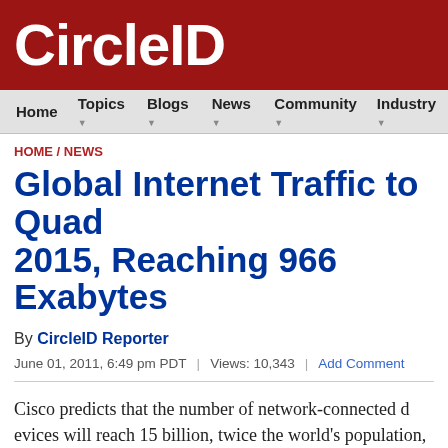CircleID
Home  Topics  Blogs  News  Community  Industry
HOME / NEWS
Global Internet Traffic to Quad 2015, Reaching 966 Exabytes
By CircleID Reporter
June 01, 2011, 6:49 pm PDT  |  Views: 10,343  |  Add Comment
Cisco predicts that the number of network-connected devices will reach 15 billion, twice the world's population, by 2015. In its V